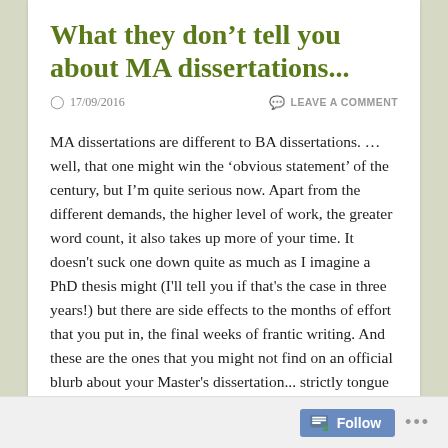What they don’t tell you about MA dissertations...
17/09/2016   LEAVE A COMMENT
MA dissertations are different to BA dissertations. ... well, that one might win the ‘obvious statement’ of the century, but I’m quite serious now. Apart from the different demands, the higher level of work, the greater word count, it also takes up more of your time. It doesn't suck one down quite as much as I imagine a PhD thesis might (I'll tell you if that's the case in three years!) but there are side effects to the months of effort that you put in, the final weeks of frantic writing. And these are the ones that you might not find on an official blurb about your Master's dissertation... strictly tongue in cheek, of course!
Follow ...